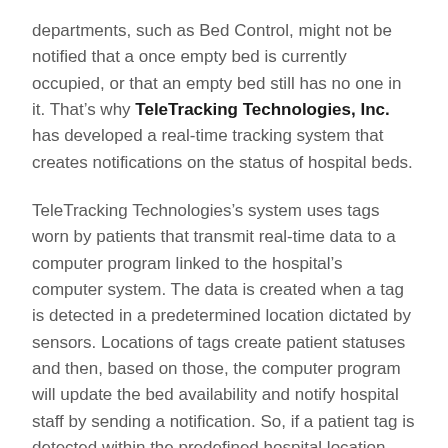departments, such as Bed Control, might not be notified that a once empty bed is currently occupied, or that an empty bed still has no one in it. That's why TeleTracking Technologies, Inc. has developed a real-time tracking system that creates notifications on the status of hospital beds.
TeleTracking Technologies's system uses tags worn by patients that transmit real-time data to a computer program linked to the hospital's computer system. The data is created when a tag is detected in a predetermined location dictated by sensors. Locations of tags create patient statuses and then, based on those, the computer program will update the bed availability and notify hospital staff by sending a notification. So, if a patient tag is detected within the predefined hospital location, the tracking system will